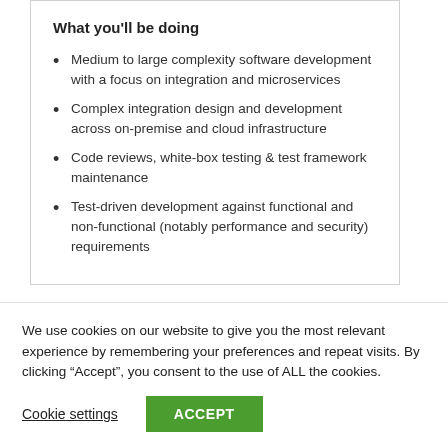What you'll be doing
Medium to large complexity software development with a focus on integration and microservices
Complex integration design and development across on-premise and cloud infrastructure
Code reviews, white-box testing & test framework maintenance
Test-driven development against functional and non-functional (notably performance and security) requirements
We use cookies on our website to give you the most relevant experience by remembering your preferences and repeat visits. By clicking “Accept”, you consent to the use of ALL the cookies.
Cookie settings | ACCEPT